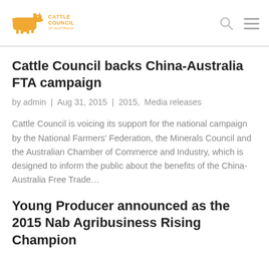[Figure (logo): Cattle Council of Australia logo with cow icon in orange/gold color]
Cattle Council backs China-Australia FTA campaign
by admin  |  Aug 31, 2015  |  2015,  Media releases
Cattle Council is voicing its support for the national campaign by the National Farmers' Federation, the Minerals Council and the Australian Chamber of Commerce and Industry, which is designed to inform the public about the benefits of the China-Australia Free Trade...
Young Producer announced as the 2015 Nab Agribusiness Rising Champion